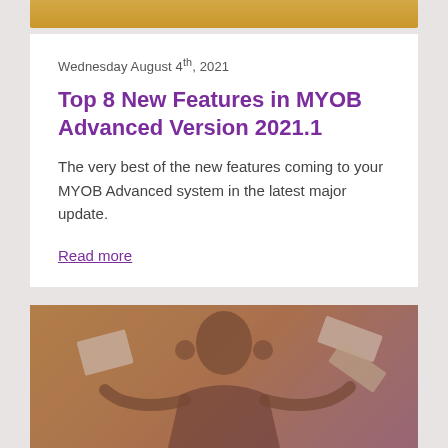[Figure (photo): Top portion of a photo with warm golden/orange tint, partially visible at the top of the page]
Wednesday August 4th, 2021
Top 8 New Features in MYOB Advanced Version 2021.1
The very best of the new features coming to your MYOB Advanced system in the latest major update.
Read more
[Figure (photo): A young man with hands on his temples looking stressed, with papers/money flying around him, tinted in warm golden-orange and purple hues]